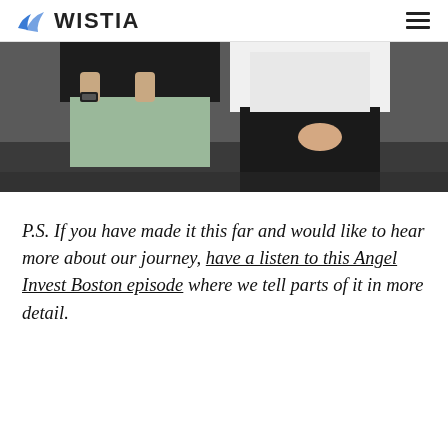WISTIA
[Figure (photo): Two people standing side by side, one in a black shirt with light green shorts and an Apple Watch, the other in a white shirt with black pants, photo cropped at torso level]
P.S. If you have made it this far and would like to hear more about our journey, have a listen to this Angel Invest Boston episode where we tell parts of it in more detail.